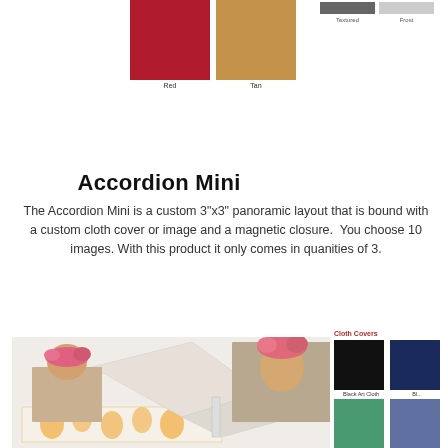[Figure (photo): Color swatches from previous product section: red swatch labeled 'Red' and tan/kraft swatch labeled 'Tan']
[Figure (photo): Top right color bar swatches labeled 'Textured' and 'Frost']
Accordion Mini
The Accordion Mini is a custom 3"x3" panoramic layout that is bound with a custom cloth cover or image and a magnetic closure. You choose 10 images. With this product it only comes in quanities of 3.
[Figure (photo): Accordion mini photo book shown open displaying panoramic photos of a girl with flowers in her hair, accordion folded pages visible]
[Figure (photo): Cloth Covers color swatches panel showing: Black Art Cloth, Blue (Navy), Cedar Art Cloth, Lavender, Orange Art Cloth, Pink, and a black swatch at bottom]